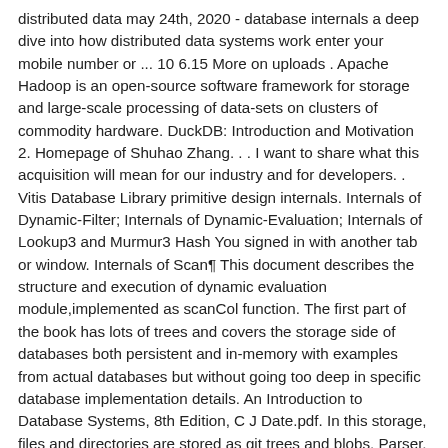distributed data may 24th, 2020 - database internals a deep dive into how distributed data systems work enter your mobile number or ... 10 6.15 More on uploads . Apache Hadoop is an open-source software framework for storage and large-scale processing of data-sets on clusters of commodity hardware. DuckDB: Introduction and Motivation 2. Homepage of Shuhao Zhang. . . I want to share what this acquisition will mean for our industry and for developers. . Vitis Database Library primitive design internals. Internals of Dynamic-Filter; Internals of Dynamic-Evaluation; Internals of Lookup3 and Murmur3 Hash You signed in with another tab or window. Internals of Scan¶ This document describes the structure and execution of dynamic evaluation module,implemented as scanCol function. The first part of the book has lots of trees and covers the storage side of databases both persistent and in-memory with examples from actual databases but without going too deep in specific database implementation details. An Introduction to Database Systems, 8th Edition, C J Date.pdf. In this storage, files and directories are stored as git trees and blobs. Parser,